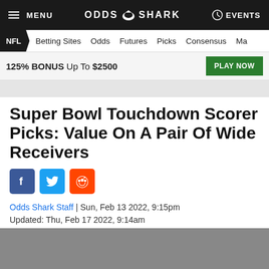MENU | ODDS SHARK | EVENTS
NFL  Betting Sites  Odds  Futures  Picks  Consensus  Ma
125% BONUS Up To $2500  PLAY NOW
Super Bowl Touchdown Scorer Picks: Value On A Pair Of Wide Receivers
[Figure (infographic): Social share buttons: Facebook (blue), Twitter (light blue), Reddit (orange)]
Odds Shark Staff | Sun, Feb 13 2022, 9:15pm
Updated: Thu, Feb 17 2022, 9:14am
[Figure (photo): Gray placeholder image for article hero photo]